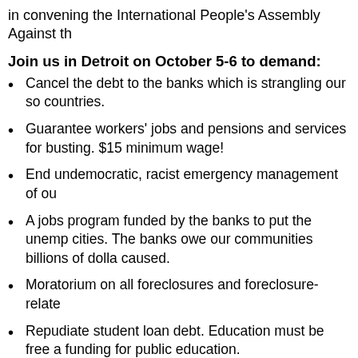in convening the International People's Assembly Against th
Join us in Detroit on October 5-6 to demand:
Cancel the debt to the banks which is strangling our so countries.
Guarantee workers' jobs and pensions and services for busting. $15 minimum wage!
End undemocratic, racist emergency management of ou
A jobs program funded by the banks to put the unemp cities. The banks owe our communities billions of dolla caused.
Moratorium on all foreclosures and foreclosure-relate
Repudiate student loan debt. Education must be free a funding for public education.
Stop racism and attacks on immigrants, women, the LG